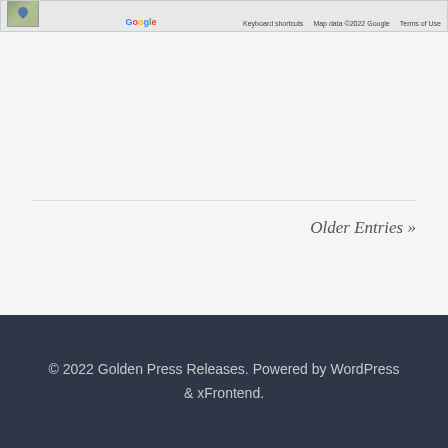[Figure (map): Bottom edge of a Google Maps embed showing a map thumbnail, Google branding, keyboard shortcuts notice, map data copyright 2022 Google, and Terms of Use link]
Older Entries »
© 2022 Golden Press Releases. Powered by WordPress & xFrontend.